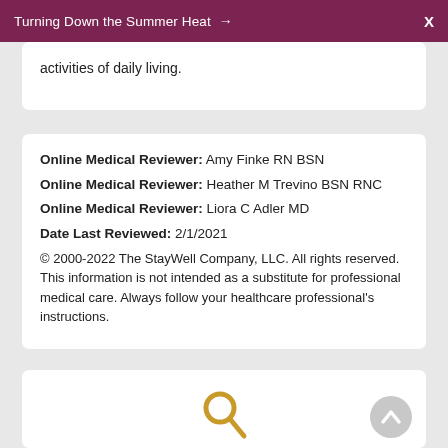Turning Down the Summer Heat →   X
activities of daily living.
Online Medical Reviewer: Amy Finke RN BSN
Online Medical Reviewer: Heather M Trevino BSN RNC
Online Medical Reviewer: Liora C Adler MD
Date Last Reviewed: 2/1/2021
© 2000-2022 The StayWell Company, LLC. All rights reserved. This information is not intended as a substitute for professional medical care. Always follow your healthcare professional's instructions.
[Figure (other): Search icon (magnifying glass in gold/yellow color) and a back-to-top circular button with an upward chevron]